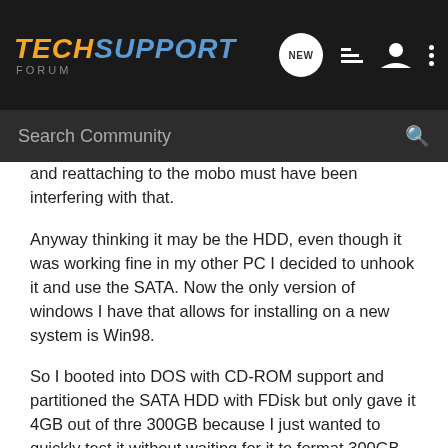TechSupport Forum
and reattaching to the mobo must have been interfering with that.
Anyway thinking it may be the HDD, even though it was working fine in my other PC I decided to unhook it and use the SATA. Now the only version of windows I have that allows for installing on a new system is Win98.
So I booted into DOS with CD-ROM support and partitioned the SATA HDD with FDisk but only gave it 4GB out of thre 300GB because I just wanted to quickly test it without waiting for it to format 300GB. So then I formated it and ran Win98 setup.
Setup seemed to run fine until after the final restart. While booting Win98 it stopped and said: